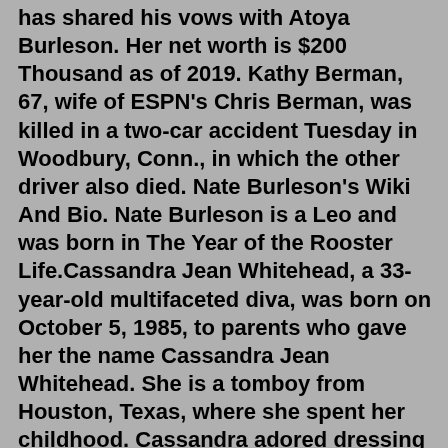has shared his vows with Atoya Burleson. Her net worth is $200 Thousand as of 2019. Kathy Berman, 67, wife of ESPN's Chris Berman, was killed in a two-car accident Tuesday in Woodbury, Conn., in which the other driver also died. Nate Burleson's Wiki And Bio. Nate Burleson is a Leo and was born in The Year of the Rooster Life.Cassandra Jean Whitehead, a 33-year-old multifaceted diva, was born on October 5, 1985, to parents who gave her the name Cassandra Jean Whitehead. She is a tomboy from Houston, Texas, where she spent her childhood. Cassandra adored dressing up and behaving like a male until she was drawn to feminine things later in her childhood.Yes Burleson is married to his wife Atoya Burleson. He and Atoya became engaged in 2003 during his early pro football career with the Minnesota Vikings. The two were college sweethearts at University of Nevada. Atoya was a champion track star at the school. Does Nate Burleson have any children? He and his wife have three children.After